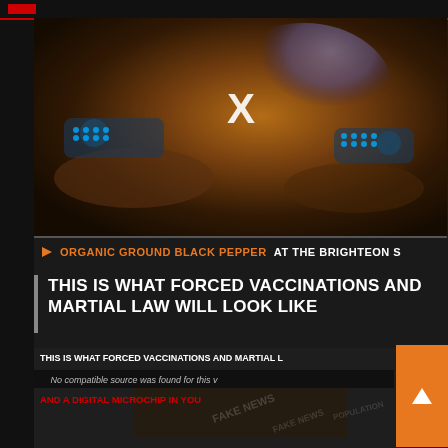[Figure (screenshot): Video player showing an illustrated apocalyptic/science fiction scene with a large 'X' close button overlay. The image shows fantasy/sci-fi artwork with human figures and robotic machinery in an orange/brown color scheme.]
ORGANIC GROUND BLACK PEPPER AT THE BRIGHTEON S
THIS IS WHAT FORCED VACCINATIONS AND MARTIAL LAW WILL LOOK LIKE
[Figure (screenshot): Second video player showing 'THIS IS WHAT FORCED VACCINATIONS AND MARTIAL L... AND A DIGITAL MICROCHIP IN YOU...' with 'No compatible source was found for this video' message. Background shows a woman's face with 'FAKE NEWS' text overlaid and population control imagery.]